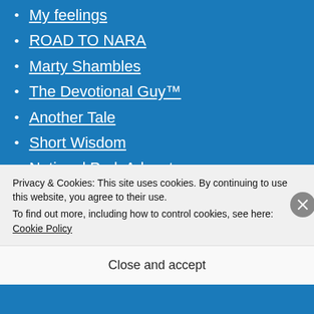My feelings
ROAD TO NARA
Marty Shambles
The Devotional Guy™
Another Tale
Short Wisdom
National Park Adventures
The Accidental Ringer
This Man's Journey
Krishna Goswami
Next Level Living
Privacy & Cookies: This site uses cookies. By continuing to use this website, you agree to their use. To find out more, including how to control cookies, see here: Cookie Policy
Close and accept